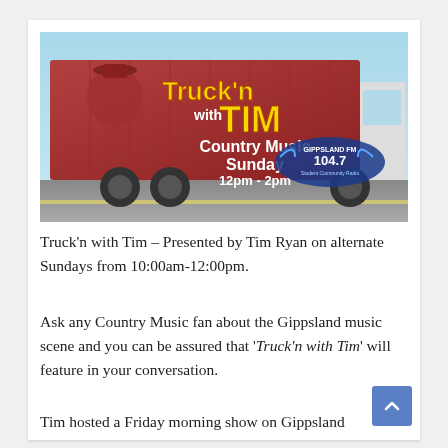[Figure (illustration): Promotional image showing a large red shipping container truck with text 'Truck'n with TIM Country Music Sunday 12pm - 2pm' and Gippsland FM 104.7 logo, with a cowboy figure on the truck side.]
Truck'n with Tim – Presented by Tim Ryan on alternate Sundays from 10:00am-12:00pm.
Ask any Country Music fan about the Gippsland music scene and you can be assured that 'Truck'n with Tim' will feature in your conversation.
Tim hosted a Friday morning show on Gippsland FM